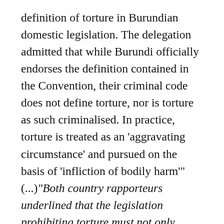definition of torture in Burundian domestic legislation. The delegation admitted that while Burundi officially endorses the definition contained in the Convention, their criminal code does not define torture, nor is torture as such criminalised. In practice, torture is treated as an 'aggravating circumstance' and pursued on the basis of 'infliction of bodily harm'" (...)"Both country rapporteurs underlined that the legislation prohibiting torture must not only cover physical torture (which is the case as long as torture is prosecuted under the category of 'bodily harm'), but needs to extend to psychological and mental torture. The Committee drew the delegation's attention to the obligation States have to initiate investigations into cases of torture. Mr